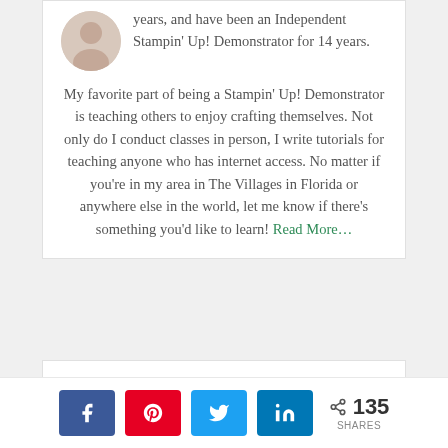years, and have been an Independent Stampin' Up! Demonstrator for 14 years.
My favorite part of being a Stampin' Up! Demonstrator is teaching others to enjoy crafting themselves. Not only do I conduct classes in person, I write tutorials for teaching anyone who has internet access. No matter if you're in my area in The Villages in Florida or anywhere else in the world, let me know if there's something you'd like to learn! Read More…
[Figure (other): Social sharing buttons: Facebook (blue), Pinterest (red), Twitter (light blue), LinkedIn (dark blue), and a share count showing 135 SHARES]